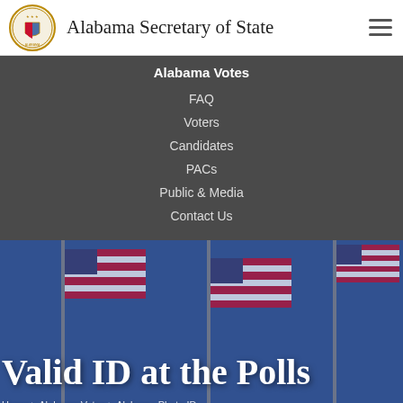Alabama Secretary of State
Alabama Votes
FAQ
Voters
Candidates
PACs
Public & Media
Contact Us
[Figure (photo): American flags waving against a blue sky, used as a hero background image]
Valid ID at the Polls